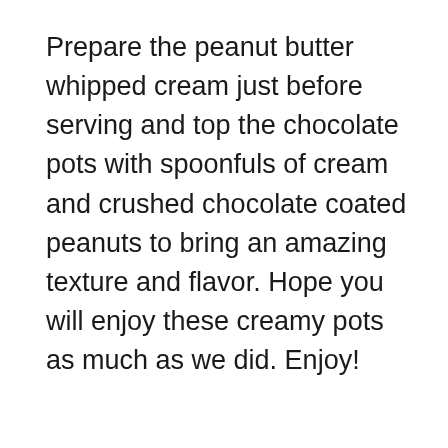Prepare the peanut butter whipped cream just before serving and top the chocolate pots with spoonfuls of cream and crushed chocolate coated peanuts to bring an amazing texture and flavor. Hope you will enjoy these creamy pots as much as we did. Enjoy!